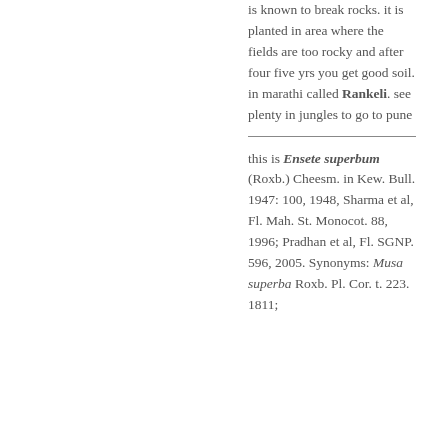is known to break rocks. it is planted in area where the fields are too rocky and after four five yrs you get good soil. in marathi called Rankeli. see plenty in jungles to go to pune
this is Ensete superbum (Roxb.) Cheesm. in Kew. Bull. 1947: 100, 1948, Sharma et al, Fl. Mah. St. Monocot. 88, 1996; Pradhan et al, Fl. SGNP. 596, 2005. Synonyms: Musa superba Roxb. Pl. Cor. t. 223. 1811;